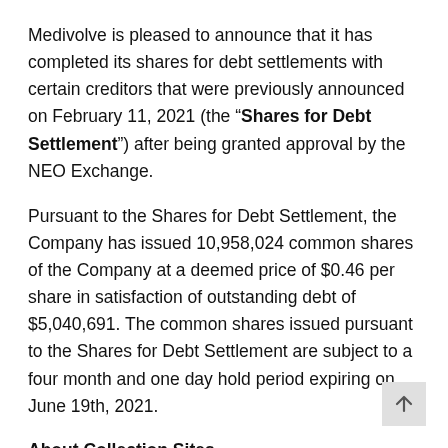Medivolve is pleased to announce that it has completed its shares for debt settlements with certain creditors that were previously announced on February 11, 2021 (the “Shares for Debt Settlement”) after being granted approval by the NEO Exchange.
Pursuant to the Shares for Debt Settlement, the Company has issued 10,958,024 common shares of the Company at a deemed price of $0.46 per share in satisfaction of outstanding debt of $5,040,691. The common shares issued pursuant to the Shares for Debt Settlement are subject to a four month and one day hold period expiring on June 19th, 2021.
About Collection Sites